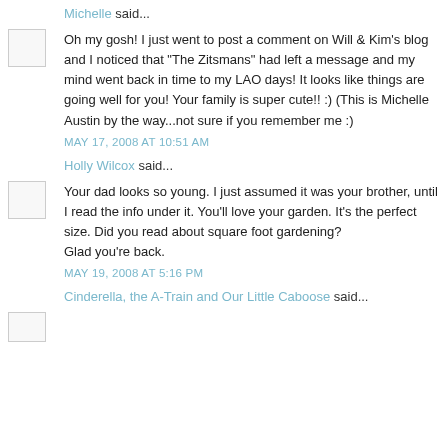Michelle said...
Oh my gosh! I just went to post a comment on Will & Kim's blog and I noticed that "The Zitsmans" had left a message and my mind went back in time to my LAO days! It looks like things are going well for you! Your family is super cute!! :) (This is Michelle Austin by the way...not sure if you remember me :)
MAY 17, 2008 AT 10:51 AM
Holly Wilcox said...
Your dad looks so young. I just assumed it was your brother, until I read the info under it. You'll love your garden. It's the perfect size. Did you read about square foot gardening?
Glad you're back.
MAY 19, 2008 AT 5:16 PM
Cinderella, the A-Train and Our Little Caboose said...